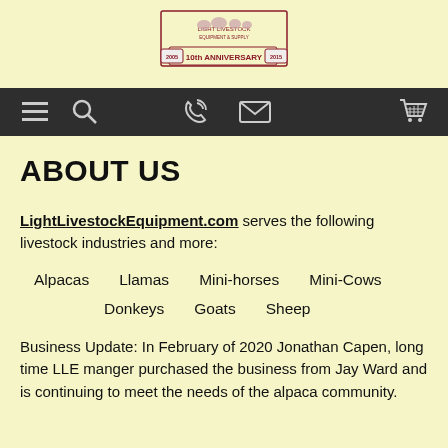[Figure (logo): Light Livestock Equipment & Supply 10th Anniversary logo with animals silhouette inside a shield/crest shape, '2005' and '2015' on a banner reading '10th ANNIVERSARY']
[Figure (other): Dark navigation bar with icons: hamburger menu, search, phone, email, shopping cart]
ABOUT US
LightLivestockEquipment.com serves the following livestock industries and more:
Alpacas
Llamas
Mini-horses
Mini-Cows
Donkeys
Goats
Sheep
Business Update: In February of 2020 Jonathan Capen, long time LLE manger purchased the business from Jay Ward and is continuing to meet the needs of the alpaca community.